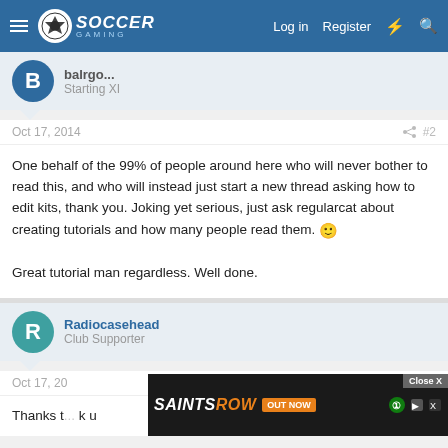Soccer Gaming — Log in  Register
Starting XI
Oct 17, 2014  #2
One behalf of the 99% of people around here who will never bother to read this, and who will instead just start a new thread asking how to edit kits, thank you. Joking yet serious, just ask regularcat about creating tutorials and how many people read them. 😃

Great tutorial man regardless. Well done.
Radiocasehead
Club Supporter
Oct 17, 20  #3
Thanks t... k u
[Figure (screenshot): Saints Row advertisement banner: dark background with 'SAINTS ROW' in white/orange text and 'OUT NOW' button, with Xbox and other gaming platform icons. 'Close X' button visible.]